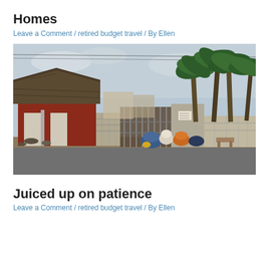Homes
Leave a Comment / retired budget travel / By Ellen
[Figure (photo): Street scene showing modest homes with a thatched-roof red building on the left, a metal gate with stone walls, and tall palm trees in the background. Garbage bags are piled near the gate on a paved road.]
Juiced up on patience
Leave a Comment / retired budget travel / By Ellen